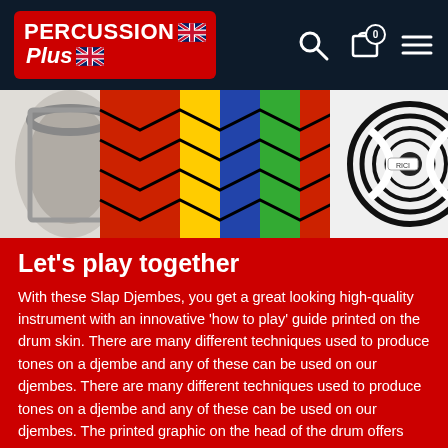Percussion Plus
[Figure (photo): Close-up photo of colourful Slap Djembe drums with decorative patterns and black/white swirl designs]
Let's play together
With these Slap Djembes, you get a great looking high-quality instrument with an innovative 'how to play' guide printed on the drum skin. There are many different techniques used to produce tones on a djembe and any of these can be used on our djembes. There are many different techniques used to produce tones on a djembe and any of these can be used on our djembes. The printed graphic on the head of the drum offers suggested